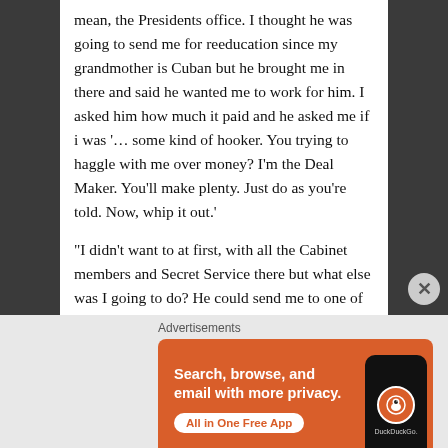mean, the Presidents office. I thought he was going to send me for reeducation since my grandmother is Cuban but he brought me in there and said he wanted me to work for him. I asked him how much it paid and he asked me if i was '... some kind of hooker. You trying to haggle with me over money? I'm the Deal Maker. You'll make plenty. Just do as you're told. Now, whip it out.'
“I didn't want to at first, with all the Cabinet members and Secret Service there but what else was I going to do? He could send me to one of the Centers for Reeducation. Muslims, Mexicans and
Advertisements
[Figure (infographic): DuckDuckGo advertisement banner with orange background. Text reads: Search, browse, and email with more privacy. All in One Free App. Shows a smartphone with DuckDuckGo logo.]